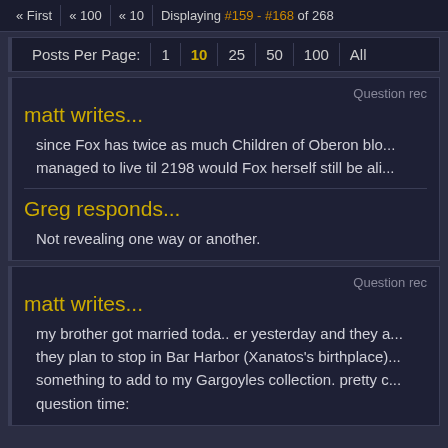« First  « 100  « 10  Displaying #159 - #168 of 268
Posts Per Page: 1  10  25  50  100  All
Question rec
matt writes...
since Fox has twice as much Children of Oberon blo... managed to live til 2198 would Fox herself still be ali...
Greg responds...
Not revealing one way or another.
Question rec
matt writes...
my brother got married toda.. er yesterday and they a... they plan to stop in Bar Harbor (Xanatos's birthplace)... something to add to my Gargoyles collection. pretty c... question time: